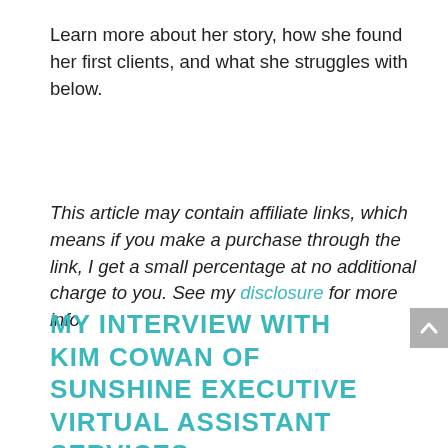Learn more about her story, how she found her first clients, and what she struggles with below.
This article may contain affiliate links, which means if you make a purchase through the link, I get a small percentage at no additional charge to you. See my disclosure for more info.
MY INTERVIEW WITH KIM COWAN OF SUNSHINE EXECUTIVE VIRTUAL ASSISTANT SERVICES